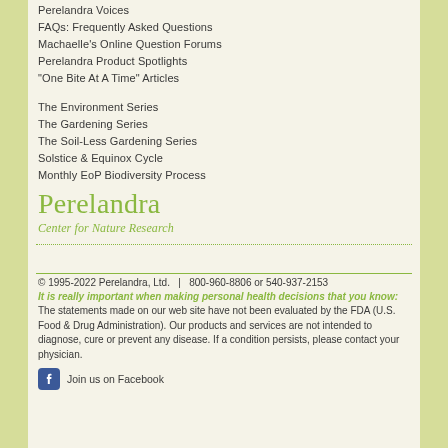Perelandra Voices
FAQs: Frequently Asked Questions
Machaelle's Online Question Forums
Perelandra Product Spotlights
"One Bite At A Time" Articles
The Environment Series
The Gardening Series
The Soil-Less Gardening Series
Solstice & Equinox Cycle
Monthly EoP Biodiversity Process
[Figure (logo): Perelandra Center for Nature Research logo in olive/green text]
© 1995-2022 Perelandra, Ltd.   |   800-960-8806 or 540-937-2153
It is really important when making personal health decisions that you know: The statements made on our web site have not been evaluated by the FDA (U.S. Food & Drug Administration). Our products and services are not intended to diagnose, cure or prevent any disease. If a condition persists, please contact your physician.
Join us on Facebook